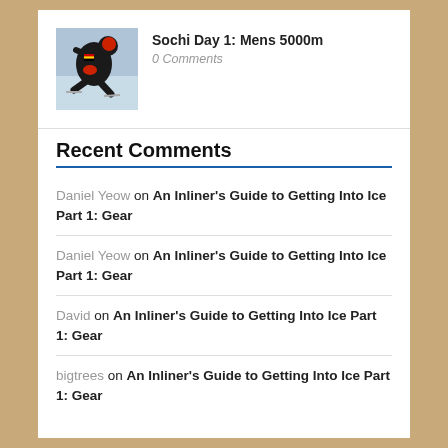[Figure (photo): Speed skater in a black and red suit crouched in skating position on ice]
Sochi Day 1: Mens 5000m
0 Comments
Recent Comments
Daniel Yeow on An Inliner's Guide to Getting Into Ice Part 1: Gear
Daniel Yeow on An Inliner's Guide to Getting Into Ice Part 1: Gear
David on An Inliner's Guide to Getting Into Ice Part 1: Gear
bigtrees on An Inliner's Guide to Getting Into Ice Part 1: Gear